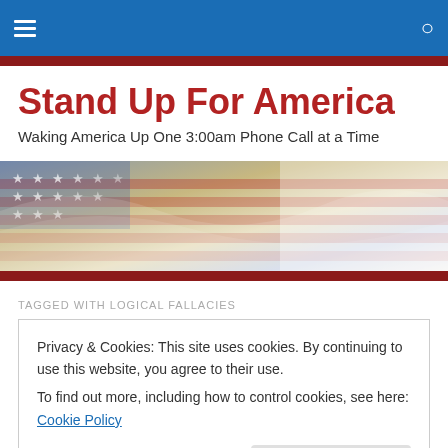Stand Up For America — navigation bar
Stand Up For America
Waking America Up One 3:00am Phone Call at a Time
[Figure (illustration): American flag banner image with stars and stripes, washed-out patriotic header graphic]
TAGGED WITH LOGICAL FALLACIES
Privacy & Cookies: This site uses cookies. By continuing to use this website, you agree to their use.
To find out more, including how to control cookies, see here: Cookie Policy
Close and accept
[Figure (illustration): Partial image at bottom showing text THIS IS NOT in bold red/white block lettering]